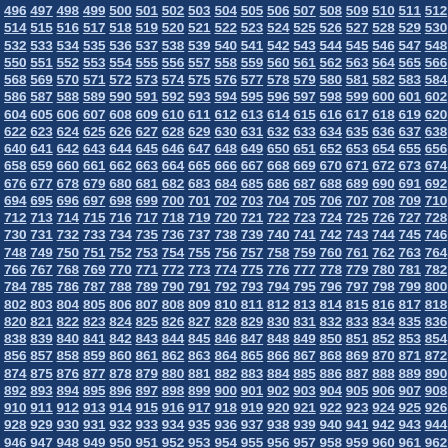Sequential numbers from 496 to ~1005, arranged in rows of 19 numbers each, displayed as underlined links on a dark blue background.